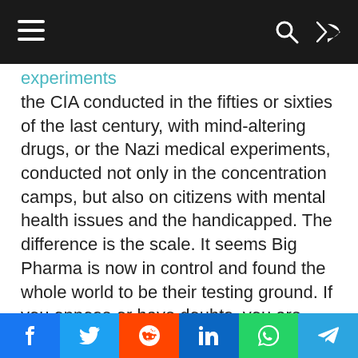Navigation bar with menu, search, and shuffle icons
experiments the CIA conducted in the fifties or sixties of the last century, with mind-altering drugs, or the Nazi medical experiments, conducted not only in the concentration camps, but also on citizens with mental health issues and the handicapped. The difference is the scale. It seems Big Pharma is now in control and found the whole world to be their testing ground. If you oppose or have doubts, you are considered a danger to the system. This is very dangerous, it resembles the thoughts of a totalitarian regime. You aren't supposed to think by yourself, but do what the government or deep state wants you to
Social share bar: Facebook, Twitter, Reddit, LinkedIn, WhatsApp, Telegram